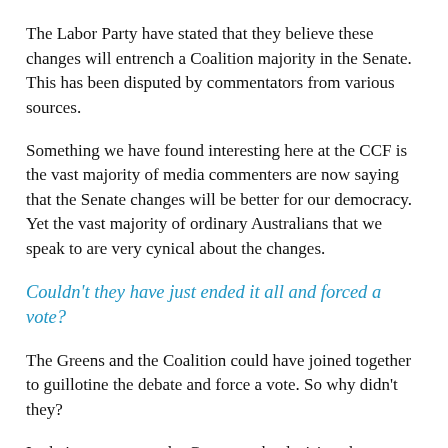The Labor Party have stated that they believe these changes will entrench a Coalition majority in the Senate. This has been disputed by commentators from various sources.
Something we have found interesting here at the CCF is the vast majority of media commenters are now saying that the Senate changes will be better for our democracy. Yet the vast majority of ordinary Australians that we speak to are very cynical about the changes.
Couldn't they have just ended it all and forced a vote?
The Greens and the Coalition could have joined together to guillotine the debate and force a vote. So why didn't they?
In their party room, the Greens make decisions by consensus. It has been reported that they talk things over and over and over again until an agreement is reached and this may be why they were reluctant to force a vote on this legislation.